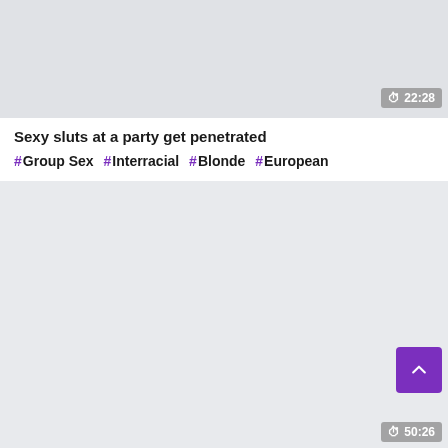[Figure (screenshot): Gray thumbnail area for a video]
22:28
Sexy sluts at a party get penetrated
# Group Sex # Interracial # Blonde # European
[Figure (screenshot): Gray bottom area with scroll-up purple button]
50:26